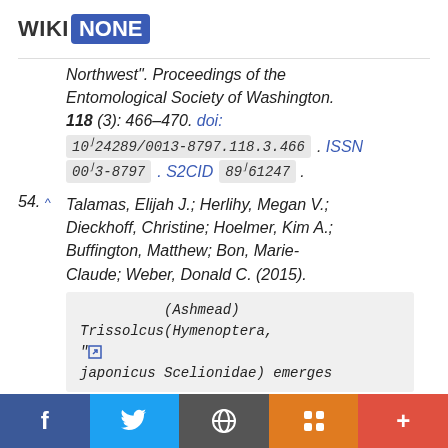WIKI NONE
Northwest". Proceedings of the Entomological Society of Washington. 118 (3): 466–470. doi: 10.3124289/0013-8797.118.3.466 . ISSN 0013-8797 . S2CID 89061247 .
54. ^ Talamas, Elijah J.; Herlihy, Megan V.; Dieckhoff, Christine; Hoelmer, Kim A.; Buffington, Matthew; Bon, Marie-Claude; Weber, Donald C. (2015). (Ashmead) Trissolcus(Hymenoptera, " japonicus Scelionidae) emerges
f  t  W  B  +